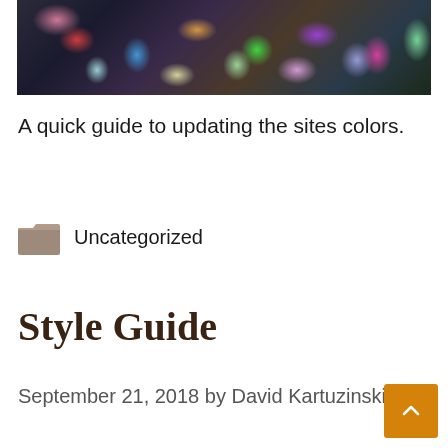[Figure (photo): Colorful abstract image of painted or decorated objects crowded together]
A quick guide to updating the sites colors.
Uncategorized
Style Guide
September 21, 2018 by David Kartuzinski